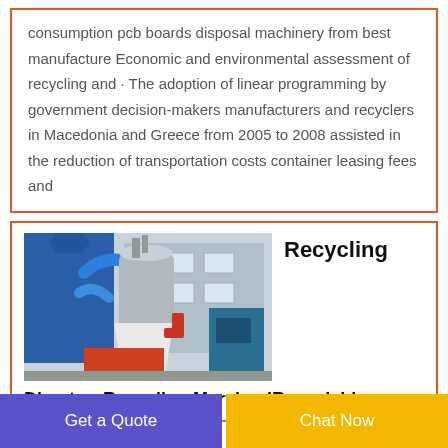consumption pcb boards disposal machinery from best manufacture Economic and environmental assessment of recycling and · The adoption of linear programming by government decision-makers manufacturers and recyclers in Macedonia and Greece from 2005 to 2008 assisted in the reduction of transportation costs container leasing fees and
[Figure (photo): Industrial recycling/PCB disposal machinery with blue and orange components, pipes and industrial equipment in a factory setting]
Recycling
DirectoryRecycling MarylandRecyclables
Get a Quote
Chat Now